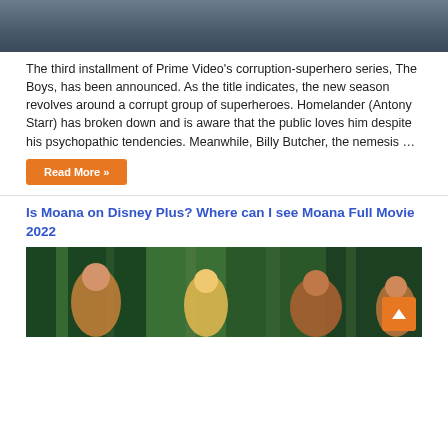[Figure (photo): Partial photo of a person at the top of the page, cropped]
The third installment of Prime Video’s corruption-superhero series, The Boys, has been announced. As the title indicates, the new season revolves around a corrupt group of superheroes. Homelander (Antony Starr) has broken down and is aware that the public loves him despite his psychopathic tendencies. Meanwhile, Billy Butcher, the nemesis …
Read More »
Is Moana on Disney Plus? Where can I see Moana Full Movie 2022
[Figure (photo): Animated image from Moana movie showing Disney animated characters in a tropical setting with trees in background]